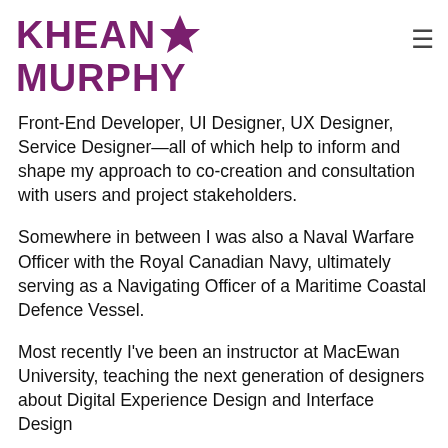KHEAN MURPHY
Front-End Developer, UI Designer, UX Designer, Service Designer—all of which help to inform and shape my approach to co-creation and consultation with users and project stakeholders.
Somewhere in between I was also a Naval Warfare Officer with the Royal Canadian Navy, ultimately serving as a Navigating Officer of a Maritime Coastal Defence Vessel.
Most recently I've been an instructor at MacEwan University, teaching the next generation of designers about Digital Experience Design and Interface Design